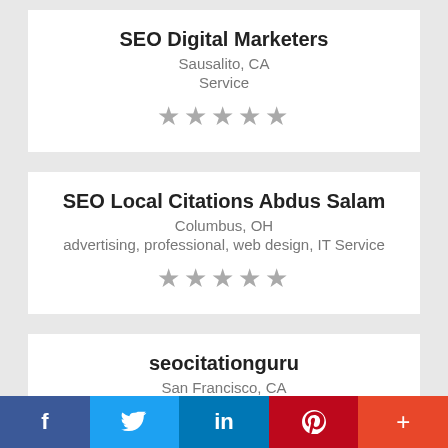SEO Digital Marketers
Sausalito, CA
Service
[Figure (other): 5 grey stars rating]
SEO Local Citations Abdus Salam
Columbus, OH
advertising, professional, web design, IT Service
[Figure (other): 5 grey stars rating]
seocitationguru
San Francisco, CA
Digital Marketing, SEO, Advertising
[Figure (other): 5 grey stars rating (partial)]
f  twitter  in  P  +